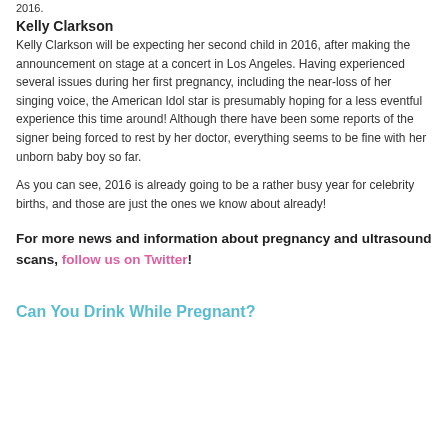2016.
Kelly Clarkson
Kelly Clarkson will be expecting her second child in 2016, after making the announcement on stage at a concert in Los Angeles. Having experienced several issues during her first pregnancy, including the near-loss of her singing voice, the American Idol star is presumably hoping for a less eventful experience this time around! Although there have been some reports of the signer being forced to rest by her doctor, everything seems to be fine with her unborn baby boy so far.
As you can see, 2016 is already going to be a rather busy year for celebrity births, and those are just the ones we know about already!
For more news and information about pregnancy and ultrasound scans, follow us on Twitter!
Can You Drink While Pregnant?